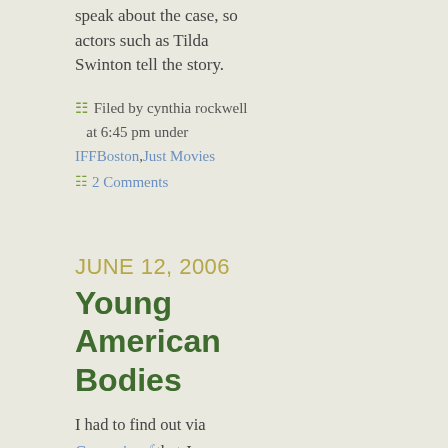speak about the case, so actors such as Tilda Swinton tell the story.
Filed by cynthia rockwell at 6:45 pm under IFFBoston,Just Movies
2 Comments
JUNE 12, 2006
Young American Bodies
I had to find out via Greencine that Joe Swanberg, creator of my favorite IFFBoston film LOL, has been shooting a mini-soap opera for Nerve.com called Young American Bodies. Not sure how I missed this before. At any rate go check